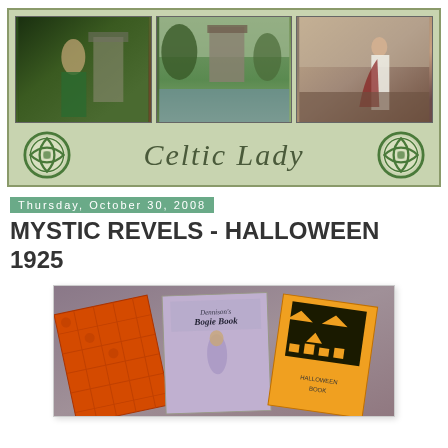[Figure (illustration): Celtic Lady blog header banner with three photos (Pre-Raphaelite woman in garden, Irish castle ruins by water, woman in white dress on moorland), two Celtic knot medallions, and the title 'Celtic Lady' in italic serif font on a sage green background]
Thursday, October 30, 2008
MYSTIC REVELS - HALLOWEEN 1925
[Figure (photo): Photograph of vintage Halloween booklets including Dennison's Bogie Book and other Halloween party books, spread out on a surface. Books are orange, purple/lavender, and black with jack-o-lantern and Halloween imagery.]